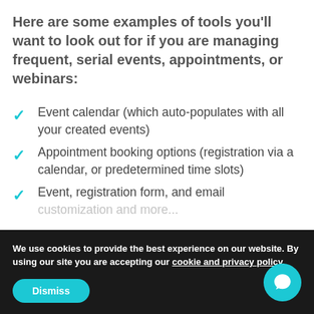Here are some examples of tools you'll want to look out for if you are managing frequent, serial events, appointments, or webinars:
Event calendar (which auto-populates with all your created events)
Appointment booking options (registration via a calendar, or predetermined time slots)
Event, registration form, and email
We use cookies to provide the best experience on our website. By using our site you are accepting our cookie and privacy policy.